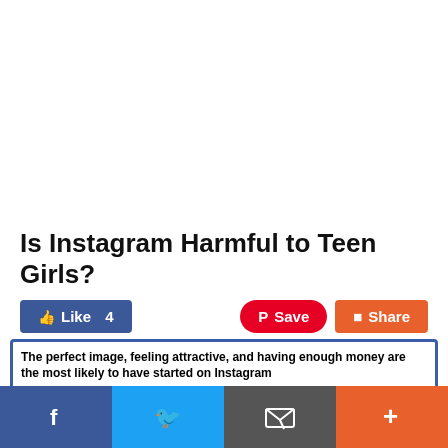Is Instagram Harmful to Teen Girls?
[Figure (screenshot): Social sharing buttons: Like 4 (Facebook blue), Save (Pinterest red), Share (orange)]
[Figure (bar-chart): The perfect image, feeling attractive, and having enough money are the most likely to have started on Instagram]
[Figure (screenshot): Bottom social share bar with Facebook, Twitter, Email, and Plus buttons]